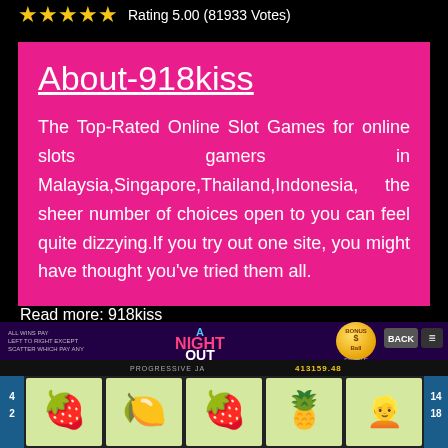Rating 5.00 (81933 Votes)
About-918kiss
The Top-Rated Online Slot Games for online slots gamers in Malaysia,Singapore,Thailand,Indonesia, the sheer number of choices open to you can feel quite dizzying.If you try out one site, you might have thought you've tried them all.
Read more: 918kiss
[Figure (screenshot): Screenshot of 918kiss online slot game 'A Night Out' showing reels with fruit symbols, progressive jackpot bar showing 413159.48, BACK button, and menu button.]